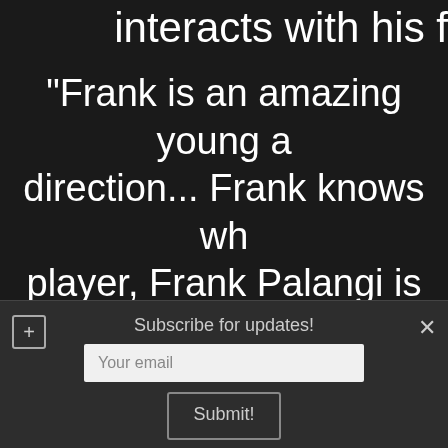interacts with his f
"Frank is an amazing young a direction... Frank knows wh player, Frank Palangi is an Craddoc
Subscribe for updates!
Your email
Submit!